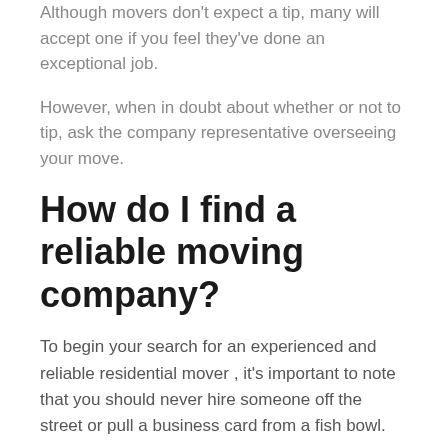Although movers don't expect a tip, many will accept one if you feel they've done an exceptional job.
However, when in doubt about whether or not to tip, ask the company representative overseeing your move.
How do I find a reliable moving company?
To begin your search for an experienced and reliable residential mover , it's important to note that you should never hire someone off the street or pull a business card from a fish bowl.
Instead, you should consult the Better Business Bureau to see how many complaints, if any, a